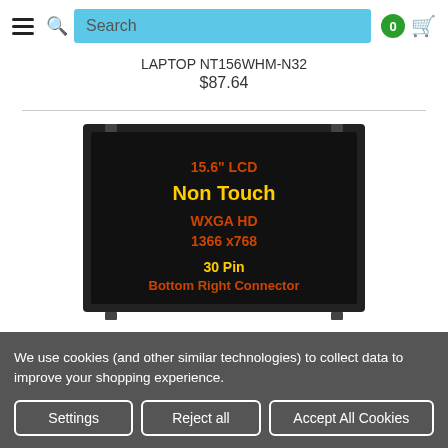Search | 0 cart
LAPTOP NT156WHM-N32
$87.64
[Figure (photo): LCD screen product image showing a laptop display panel with specs: 15.6" LCD Non Touch WXGA HD 1366 x768 30 Pin Bottom Right Connector on black background]
We use cookies (and other similar technologies) to collect data to improve your shopping experience.
Settings
Reject all
Accept All Cookies